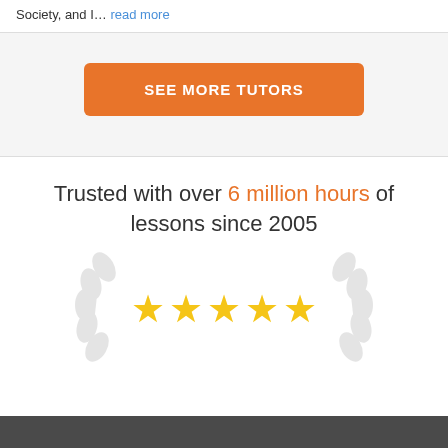Society, and I… read more
SEE MORE TUTORS
Trusted with over 6 million hours of lessons since 2005
[Figure (illustration): Five gold stars with decorative laurel wreath on both sides, indicating a 5-star rating]